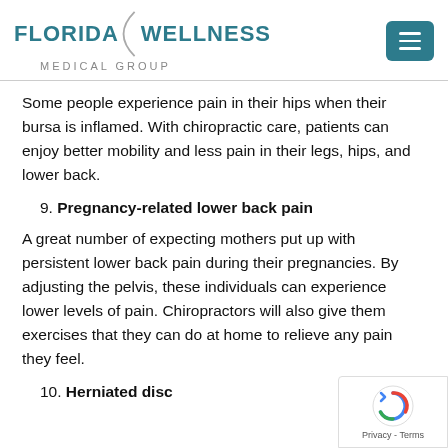FLORIDA WELLNESS MEDICAL GROUP
Some people experience pain in their hips when their bursa is inflamed. With chiropractic care, patients can enjoy better mobility and less pain in their legs, hips, and lower back.
9. Pregnancy-related lower back pain
A great number of expecting mothers put up with persistent lower back pain during their pregnancies. By adjusting the pelvis, these individuals can experience lower levels of pain. Chiropractors will also give them exercises that they can do at home to relieve any pain they feel.
10. Herniated disc